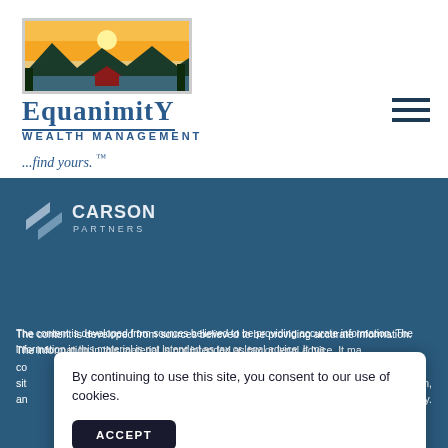[Figure (logo): Equanimity Wealth Management logo: landscape painting with mountains, sunset, water, and trees in a rectangular frame, with 'EQUANIMITY WEALTH MANAGEMENT' text and '...find yours. TM' tagline below]
[Figure (logo): Carson Partners logo: stylized arrow/chevron icon in silver-white with 'CARSON PARTNERS' text]
The content is developed from sources believed to be providing accurate information. The information in this material is not intended as tax or legal advice. It may not be used for the purpose of avoiding any federal tax penalties. Please consult legal or tax professionals for specific information regarding your individual situation. The opinions expressed and material provided are for general information, and should not be considered a solicitation for the purchase or sale of any security.
By continuing to use this site, you consent to our use of cookies.